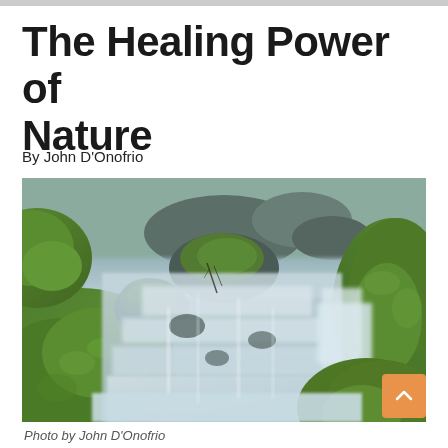The Healing Power of Nature
By John D'Onofrio
[Figure (photo): A nature photograph showing a flowing stream with silky smooth water cascading over and between moss-covered rocks. The long-exposure photography creates a misty, ethereal effect on the water. The rocks are covered in lush green moss. The scene is serene and tranquil, depicting the healing power of nature.]
Photo by John D'Onofrio